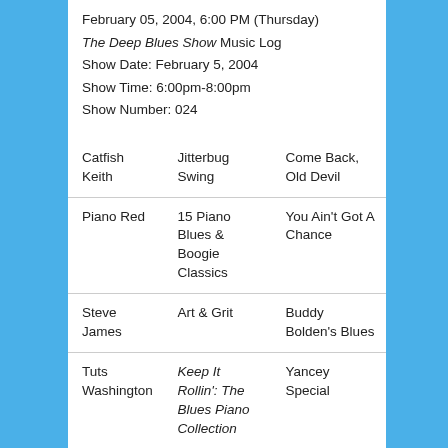February 05, 2004, 6:00 PM (Thursday)
The Deep Blues Show Music Log
Show Date: February 5, 2004
Show Time: 6:00pm-8:00pm
Show Number: 024
| Artist | Album | Song |
| --- | --- | --- |
| Catfish Keith | Jitterbug Swing | Come Back, Old Devil |
| Piano Red | 15 Piano Blues & Boogie Classics | You Ain't Got A Chance |
| Steve James | Art & Grit | Buddy Bolden's Blues |
| Tuts Washington | Keep It Rollin': The Blues Piano Collection | Yancey Special |
| Big Joe | Cincinnati | Well, Well |